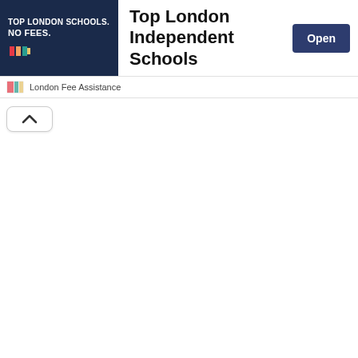[Figure (screenshot): Advertisement banner for London Fee Assistance showing dark navy left panel with text 'TOP LONDON SCHOOLS. NO FEES.' and a logo, center shows title 'Top London Independent Schools', right side has a dark blue 'Open' button]
London Fee Assistance
[Figure (other): Collapse/chevron up button in a rounded rectangle box]